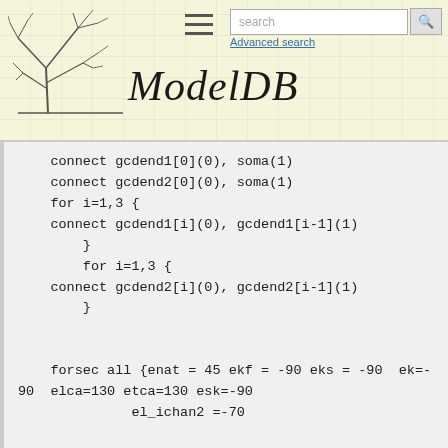[Figure (screenshot): ModelDB website header with logo (tree illustration), hamburger menu, search bar with search button, Advanced search link, and ModelDB italic title]
connect gcdend1[0](0), soma(1)
    connect gcdend2[0](0), soma(1)
    for i=1,3 {
    connect gcdend1[i](0), gcdend1[i-1](1)
        }
        for i=1,3 {
    connect gcdend2[i](0), gcdend2[i-1](1)
        }


    forsec all {enat = 45 ekf = -90 eks = -90  ek=-90  elca=130 etca=130 esk=-90
              el_ichan2 =-70

          cao_ccanl=2 }  // make catau slower70e-3      cao=2 cai=50.e-6